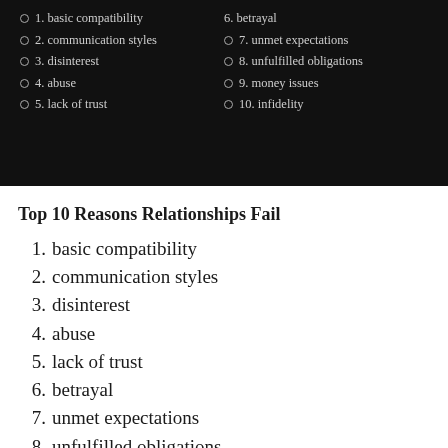[Figure (screenshot): Dark background panel showing two-column list of Top 10 Reasons Relationships Fail items 1-10 with circle bullet points]
Top 10 Reasons Relationships Fail
1. basic compatibility
2. communication styles
3. disinterest
4. abuse
5. lack of trust
6. betrayal
7. unmet expectations
8. unfulfilled obligations